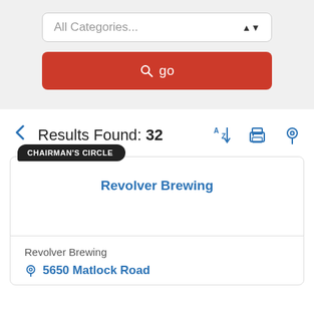All Categories...
go
Results Found: 32
CHAIRMAN'S CIRCLE
Revolver Brewing
Revolver Brewing
5650 Matlock Road